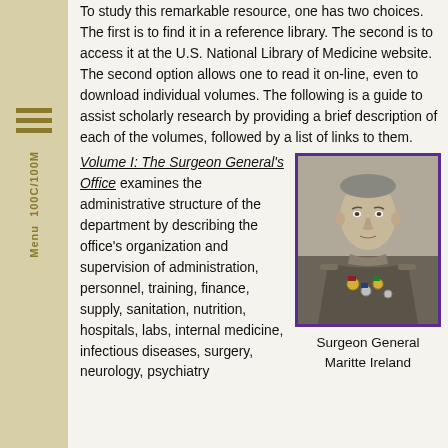To study this remarkable resource, one has two choices. The first is to find it in a reference library. The second is to access it at the U.S. National Library of Medicine website. The second option allows one to read it on-line, even to download individual volumes. The following is a guide to assist scholarly research by providing a brief description of each of the volumes, followed by a list of links to them.
Volume I: The Surgeon General's Office examines the administrative structure of the department by describing the office's organization and supervision of administration, personnel, training, finance, supply, sanitation, nutrition, hospitals, labs, internal medicine, infectious diseases, surgery, neurology, psychiatry
[Figure (photo): Black and white portrait photograph of a military officer in uniform with medals, bordered in purple. Caption reads: Surgeon General Maritte Ireland]
Surgeon General Maritte Ireland